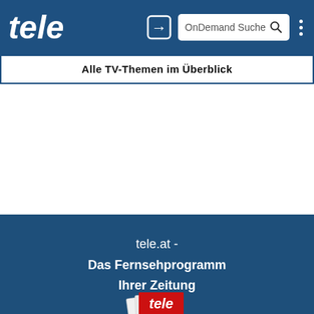tele | OnDemand Suche
Alle TV-Themen im Überblick
tele.at -
Das Fernsehprogramm
Ihrer Zeitung
[Figure (illustration): Magazine cover with tele logo in red and white at the bottom of the page footer]